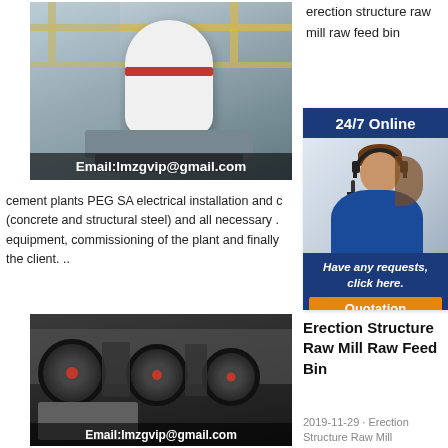[Figure (photo): Industrial mill machine in factory with crane beam overhead. Email:lmzgvip@gmail.com overlay at bottom.]
erection structure raw mill raw feed bin
[Figure (other): 24/7 Online banner with customer service agent wearing headset photo and 'Have any requests, click here.' text with Quotation button.]
cement plants PEG SA electrical installation and (concrete and structural steel) and all necessary equipment, commissioning of the plant and finally the client. ..
[Figure (photo): Jaw crusher machine with large flywheels. Email:lmzgvip@gmail.com overlay at bottom.]
Erection Structure Raw Mill Raw Feed Bin
2019-11-29 · Erection Structure Raw Mill